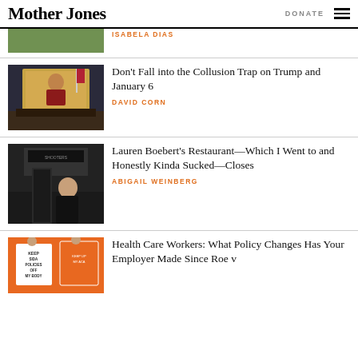Mother Jones | DONATE
[Figure (photo): Partial image at top of page, partially cropped green/outdoor scene]
ISABELA DIAS
[Figure (photo): Photo of a hearing room with a large screen showing a man in a suit, American flags visible, seated officials in front]
Don't Fall into the Collusion Trap on Trump and January 6
DAVID CORN
[Figure (photo): Photo of Lauren Boebert standing in front of a restaurant with a Shooters Grill sign]
Lauren Boebert's Restaurant—Which I Went to and Honestly Kinda Sucked—Closes
ABIGAIL WEINBERG
[Figure (photo): Photo of protesters holding signs including one that reads KEEP SIDA POLICE OFF MY BODY on orange background]
Health Care Workers: What Policy Changes Has Your Employer Made Since Roe v